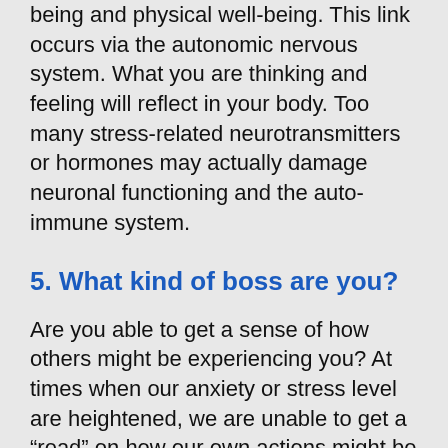being and physical well-being. This link occurs via the autonomic nervous system. What you are thinking and feeling will reflect in your body. Too many stress-related neurotransmitters or hormones may actually damage neuronal functioning and the auto-immune system.
5. What kind of boss are you?
Are you able to get a sense of how others might be experiencing you? At times when our anxiety or stress level are heightened, we are unable to get a “read” on how our own actions might be impacting on another. There is an absence of alternatives in our thoughts of how others might be experiencing...